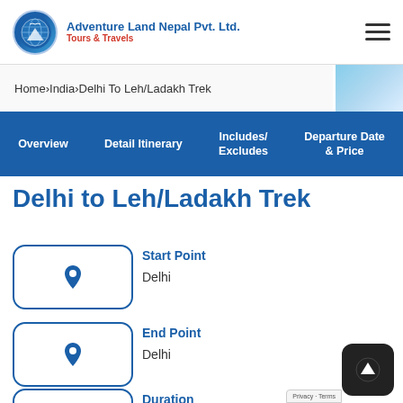Adventure Land Nepal Pvt. Ltd. Tours & Travels
Home > India > Delhi To Leh/Ladakh Trek
Overview | Detail Itinerary | Includes/Excludes | Departure Date & Price
Delhi to Leh/Ladakh Trek
Start Point
Delhi
End Point
Delhi
Duration